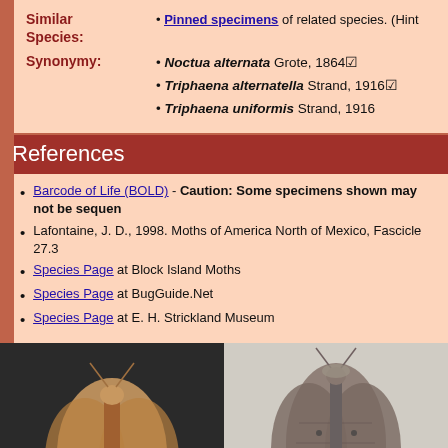Similar Species: • Pinned specimens of related species. (Hint...)
Synonymy: • Noctua alternata Grote, 1864 • Triphaena alternatella Strand, 1916 • Triphaena uniformis Strand, 1916
References
Barcode of Life (BOLD) - Caution: Some specimens shown may not be sequenced...
Lafontaine, J. D., 1998. Moths of America North of Mexico, Fascicle 27.3
Species Page at Block Island Moths
Species Page at BugGuide.Net
Species Page at E. H. Strickland Museum
[Figure (photo): Photo of a tan/brown moth specimen resting on dark background, dorsal view]
[Figure (photo): Photo of a gray-brown moth specimen resting on light background, dorsal view]